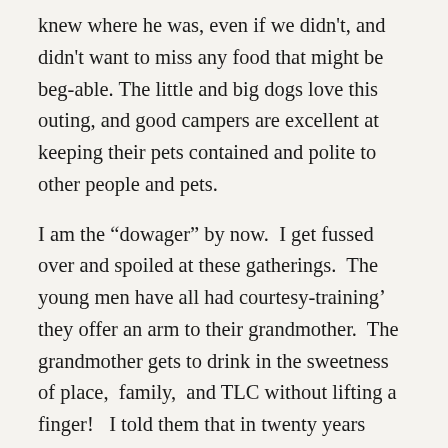knew where he was, even if we didn't, and didn't want to miss any food that might be beg-able. The little and big dogs love this outing, and good campers are excellent at keeping their pets contained and polite to other people and pets.
I am the “dowager” by now.  I get fussed over and spoiled at these gatherings.  The young men have all had courtesy-training’ they offer an arm to their grandmother.  The grandmother gets to drink in the sweetness of place,  family,  and TLC without lifting a finger!   I told them that in twenty years when they were meeting,  if a sprinkle of rain came down on them, they could blame me– I would be